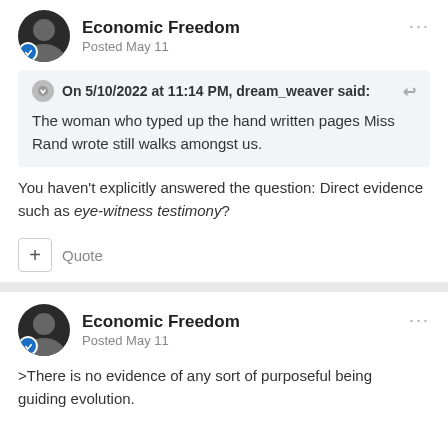Economic Freedom
Posted May 11
On 5/10/2022 at 11:14 PM, dream_weaver said:
The woman who typed up the hand written pages Miss Rand wrote still walks amongst us.
You haven't explicitly answered the question: Direct evidence such as eye-witness testimony?
+ Quote
Economic Freedom
Posted May 11
>There is no evidence of any sort of purposeful being guiding evolution.